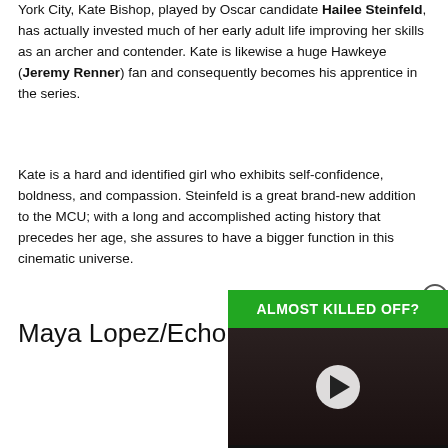York City, Kate Bishop, played by Oscar candidate Hailee Steinfeld, has actually invested much of her early adult life improving her skills as an archer and contender. Kate is likewise a huge Hawkeye (Jeremy Renner) fan and consequently becomes his apprentice in the series.
Kate is a hard and identified girl who exhibits self-confidence, boldness, and compassion. Steinfeld is a great brand-new addition to the MCU; with a long and accomplished acting history that precedes her age, she assures to have a bigger function in this cinematic universe.
Maya Lopez/Echo — H
[Figure (screenshot): Video player overlay showing 'ALMOST KILLED OFF?' banner in green, with a play button over a dark thumbnail of a person, and a news logo bar at the bottom with 'C NEWS' text. A close button (X in circle) appears in the top right.]